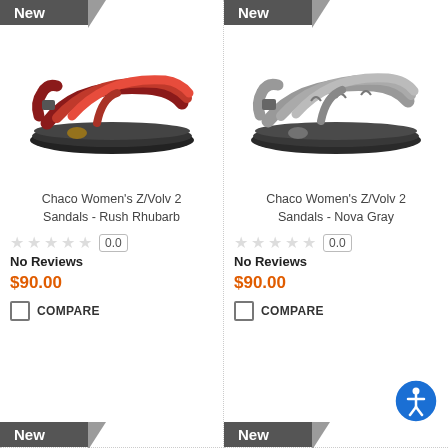[Figure (photo): Chaco Women's Z/Volv 2 Sandal in Rush Rhubarb colorway - red/orange straps on dark sole]
New
Chaco Women's Z/Volv 2 Sandals - Rush Rhubarb
0.0
No Reviews
$90.00
COMPARE
[Figure (photo): Chaco Women's Z/Volv 2 Sandal in Nova Gray colorway - gray patterned straps on dark sole]
New
Chaco Women's Z/Volv 2 Sandals - Nova Gray
0.0
No Reviews
$90.00
COMPARE
New
New